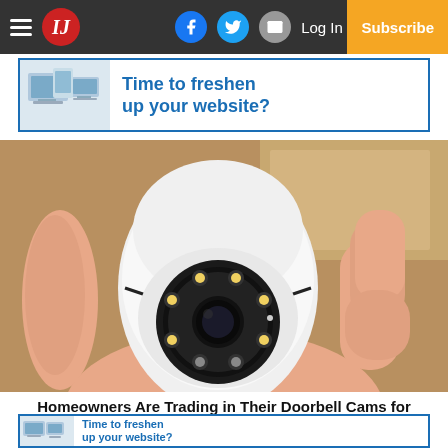IJ — Log In | Subscribe (navigation bar with hamburger, logo, Facebook, Twitter, email icons)
[Figure (other): Advertisement banner: tech product image on left, blue text 'Time to freshen up your website?' on right, blue border]
[Figure (photo): A hand holding a small white egg-shaped security camera with a circular lens array featuring multiple LEDs and a central camera lens]
Homeowners Are Trading in Their Doorbell Cams for
[Figure (other): Advertisement banner (smaller): tech product image on left, blue text 'Time to freshen up your website?' on right, blue border]